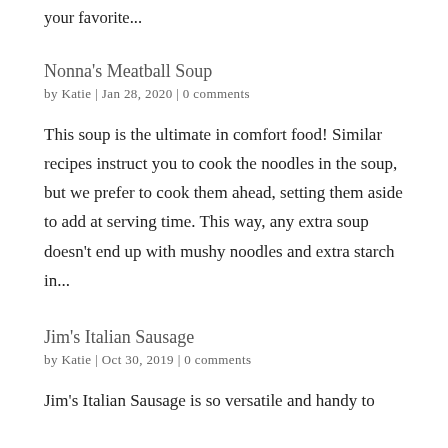your favorite...
Nonna's Meatball Soup
by Katie | Jan 28, 2020 | 0 comments
This soup is the ultimate in comfort food! Similar recipes instruct you to cook the noodles in the soup, but we prefer to cook them ahead, setting them aside to add at serving time. This way, any extra soup doesn't end up with mushy noodles and extra starch in...
Jim's Italian Sausage
by Katie | Oct 30, 2019 | 0 comments
Jim's Italian Sausage is so versatile and handy to